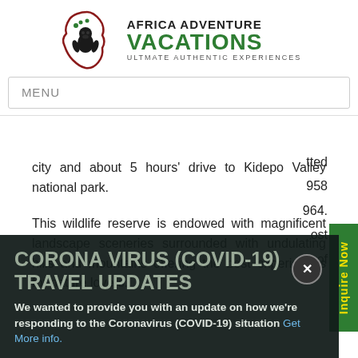[Figure (logo): Africa Adventure Vacations logo with Africa continent outline in dark red/maroon, gorilla silhouette inside, green text reading AFRICA ADVENTURE VACATIONS, tagline ULTIMATE AUTHENTIC EXPERIENCES]
MENU
city and about 5 hours' drive to Kidepo Valley national park.
This wildlife reserve is endowed with magnificent landscape sceneries surrounded with undulating hills and mountains offering the best experiences for nature lovers.
CORONA VIRUS (COVID-19) TRAVEL UPDATES
We wanted to provide you with an update on how we're responding to the Coronavirus (COVID-19) situation Get More info.